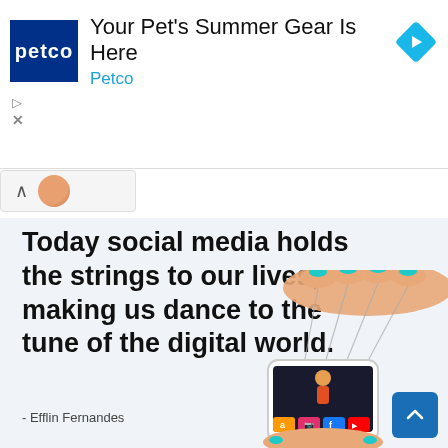[Figure (screenshot): Petco advertisement banner with Petco logo on dark blue background, ad title 'Your Pet's Summer Gear Is Here', sponsor name 'Petco' in cyan, and a cyan diamond-shaped arrow icon on the right]
[Figure (illustration): Social media illustration: a hand holding strings like a puppet master controlling a smartphone; the phone screen shows a woman trapped inside as if in a cage formed by the strings; social media app icons (Amazon, Instagram, Facebook, YouTube, Reddit, and others) visible at the bottom of the phone]
Today social media holds the strings to our lives, making us dance to the tune of the digital world.
- Efflin Fernandes